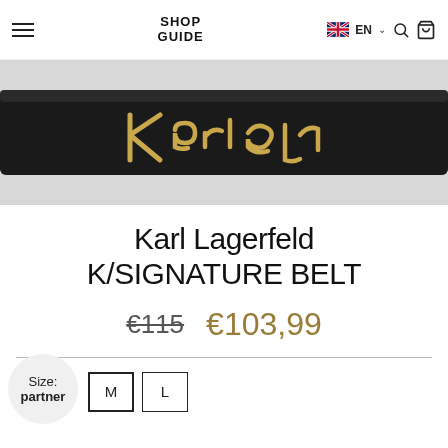SHOP GUIDE — EN — search — bag
[Figure (photo): Close-up of a black leather belt with a gold Karl Lagerfeld signature script buckle on a light grey background]
Karl Lagerfeld K/SIGNATURE BELT
€115  €103,99
Size: partner M L